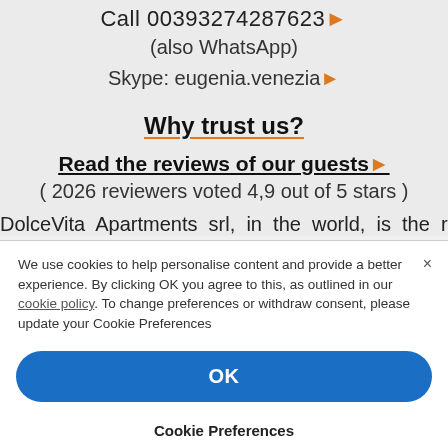Call 00393274287623 ▶
(also WhatsApp)
Skype: eugenia.venezia ▶
Why trust us?
Read the reviews of our guests ▶
( 2026 reviewers voted 4,9 out of 5 stars )
DolceVita Apartments srl, in the world, is the real
We use cookies to help personalise content and provide a better experience. By clicking OK you agree to this, as outlined in our cookie policy. To change preferences or withdraw consent, please update your Cookie Preferences
OK
Cookie Preferences